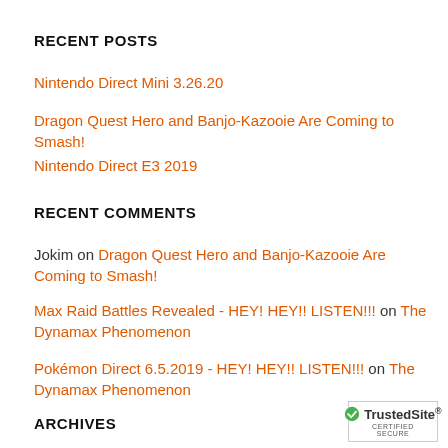RECENT POSTS
Nintendo Direct Mini 3.26.20
Dragon Quest Hero and Banjo-Kazooie Are Coming to Smash!
Nintendo Direct E3 2019
RECENT COMMENTS
Jokim on Dragon Quest Hero and Banjo-Kazooie Are Coming to Smash!
Max Raid Battles Revealed - HEY! HEY!! LISTEN!!! on The Dynamax Phenomenon
Pokémon Direct 6.5.2019 - HEY! HEY!! LISTEN!!! on The Dynamax Phenomenon
ARCHIVES
[Figure (logo): TrustedSite Certified Secure badge]